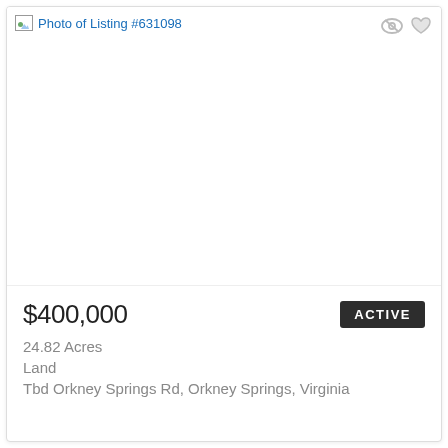[Figure (photo): Broken/missing photo placeholder for Listing #631098 with eye and heart icons in top right corner]
$400,000
ACTIVE
24.82 Acres
Land
Tbd Orkney Springs Rd, Orkney Springs, Virginia